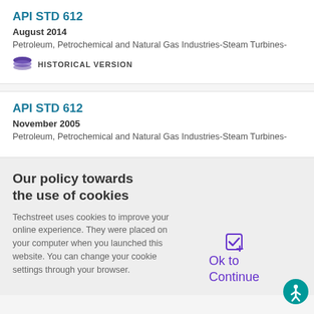API STD 612
August 2014
Petroleum, Petrochemical and Natural Gas Industries-Steam Turbines-
HISTORICAL VERSION
API STD 612
November 2005
Petroleum, Petrochemical and Natural Gas Industries-Steam Turbines-
Our policy towards the use of cookies
Techstreet uses cookies to improve your online experience. They were placed on your computer when you launched this website. You can change your cookie settings through your browser.
Ok to Continue